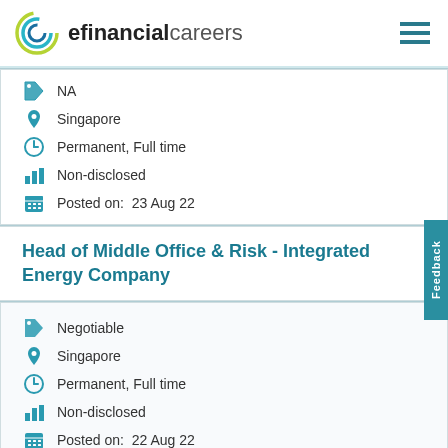efinancialcareers
NA
Singapore
Permanent, Full time
Non-disclosed
Posted on:  23 Aug 22
Head of Middle Office & Risk - Integrated Energy Company
Negotiable
Singapore
Permanent, Full time
Non-disclosed
Posted on:  22 Aug 22